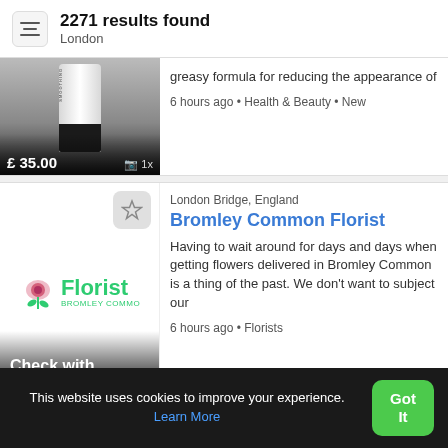2271 results found
London
[Figure (photo): Product image of a smoothing/beauty product bottle, shown at £35.00 with 1 photo]
greasy formula for reducing the appearance of
6 hours ago • Health & Beauty • New
London Bridge, England
Bromley Common Florist
[Figure (logo): Florist logo with rose icon, green text reading 'Florist' and 'BROMLEY COMMO' below]
Having to wait around for days and days when getting flowers delivered in Bromley Common is a thing of the past. We don't want to subject our
6 hours ago • Florists
Check with
This website uses cookies to improve your experience. Learn More
Got It